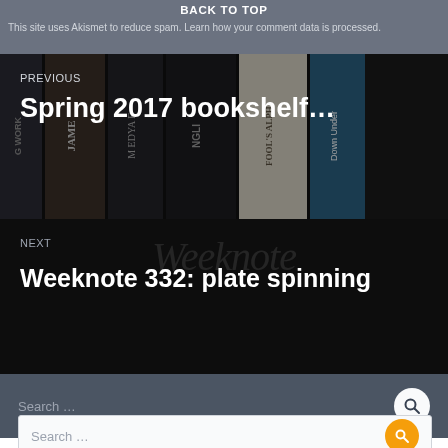This site uses Akismet to reduce spam. Learn how your comment data is processed.
BACK TO TOP
[Figure (photo): Bookshelf with multiple book spines showing partial titles including 'G WORK', 'JAME', 'M EDYA', 'NGLI', 'FOOL'S ALP', 'Down Under']
PREVIOUS
Spring 2017 bookshelf…
NEXT
Weeknote 332: plate spinning
Search …
Search mmitii
Search …